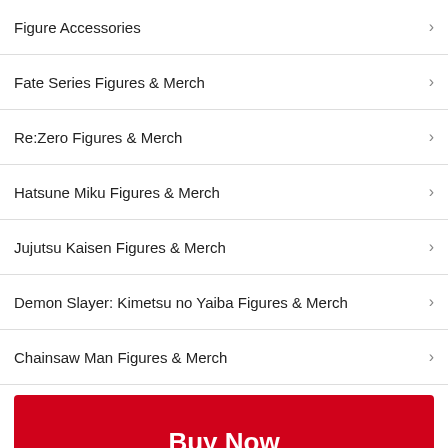Figure Accessories
Fate Series Figures & Merch
Re:Zero Figures & Merch
Hatsune Miku Figures & Merch
Jujutsu Kaisen Figures & Merch
Demon Slayer: Kimetsu no Yaiba Figures & Merch
Chainsaw Man Figures & Merch
Buy Now
Good Smile Company  Add to Cart(Special Order)